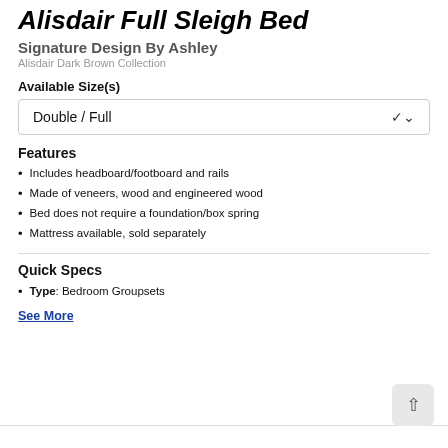Alisdair Full Sleigh Bed
Signature Design By Ashley
Alisdair Dark Brown Collection
Available Size(s)
Double / Full
Features
Includes headboard/footboard and rails
Made of veneers, wood and engineered wood
Bed does not require a foundation/box spring
Mattress available, sold separately
Quick Specs
Type: Bedroom Groupsets
See More